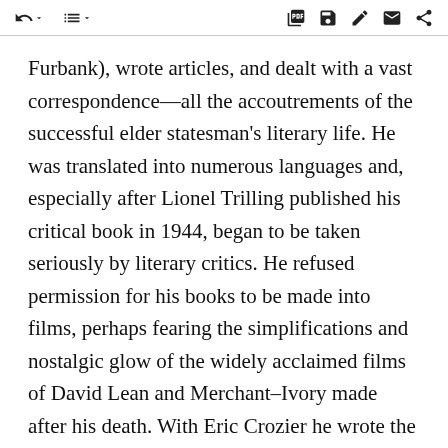[toolbar icons]
Furbank), wrote articles, and dealt with a vast correspondence—all the accoutrements of the successful elder statesman's literary life. He was translated into numerous languages and, especially after Lionel Trilling published his critical book in 1944, began to be taken seriously by literary critics. He refused permission for his books to be made into films, perhaps fearing the simplifications and nostalgic glow of the widely acclaimed films of David Lean and Merchant–Ivory made after his death. With Eric Crozier he wrote the libretto for Benjamin Britten's opera Billy Budd (1951). Abinger Harvest, a collection of his essays and reviews, had been published in 1936 and a second collection, Two Cheers for Democracy, appeared in 1951. His